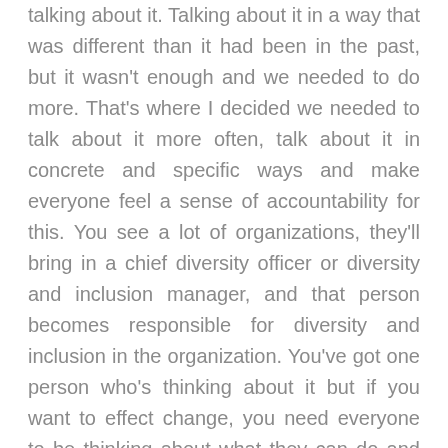talking about it. Talking about it in a way that was different than it had been in the past, but it wasn't enough and we needed to do more. That's where I decided we needed to talk about it more often, talk about it in concrete and specific ways and make everyone feel a sense of accountability for this. You see a lot of organizations, they'll bring in a chief diversity officer or diversity and inclusion manager, and that person becomes responsible for diversity and inclusion in the organization. You've got one person who's thinking about it but if you want to effect change, you need everyone to be thinking about what they can do and how they can do things differently.